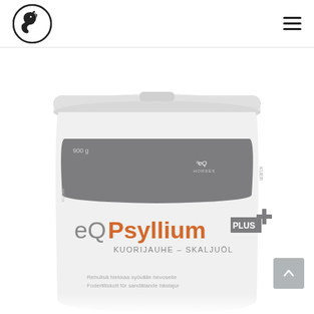eQ brand website header with horse logo and hamburger menu
[Figure (photo): eQ Psyllium Plus product container (900g white tub with gray band showing eQ logo, orange and white text reading 'eQ Psyllium PLUS', subtitle 'KUORIJAUHE - SKALJUÖL', and Finnish/Swedish descriptive text at bottom). The container is shown from the front, cropped at the bottom.]